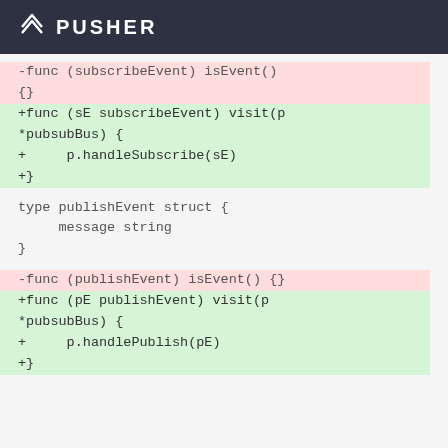PUSHER
-func (subscribeEvent) isEvent()
{}
+func (sE subscribeEvent) visit(p
*pubsubBus) {
+     p.handleSubscribe(sE)
+}

type publishEvent struct {
     message string
}

-func (publishEvent) isEvent() {}
+func (pE publishEvent) visit(p
*pubsubBus) {
+     p.handlePublish(pE)
+}